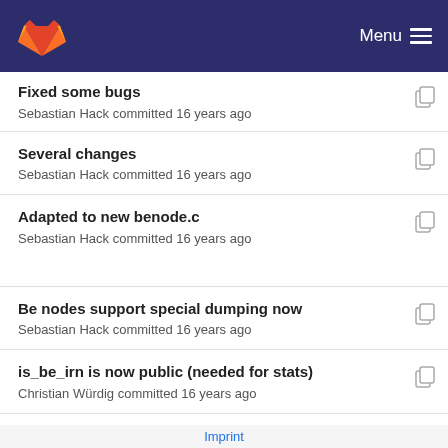GitLab — Menu
Fixed some bugs
Sebastian Hack committed 16 years ago
Several changes
Sebastian Hack committed 16 years ago
Adapted to new benode.c
Sebastian Hack committed 16 years ago
Be nodes support special dumping now
Sebastian Hack committed 16 years ago
is_be_irn is now public (needed for stats)
Christian Würdig committed 16 years ago
Prototypely implemented constrained coloring
Sebastian Hack committed 16 years ago
Imprint